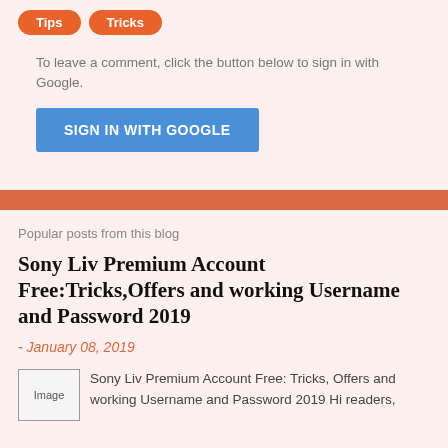[Figure (other): Two orange pill-shaped tag buttons labeled 'Tips' and 'Tricks']
To leave a comment, click the button below to sign in with Google.
[Figure (other): Blue 'SIGN IN WITH GOOGLE' button]
Popular posts from this blog
Sony Liv Premium Account Free:Tricks,Offers and working Username and Password 2019
- January 08, 2019
[Figure (other): Broken image placeholder labeled 'Image']
Sony Liv Premium Account Free: Tricks, Offers and working Username and Password 2019 Hi readers,